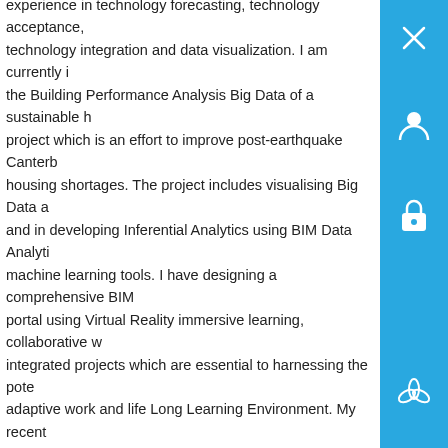experience in technology forecasting, technology acceptance, technology integration and data visualization. I am currently in the Building Performance Analysis Big Data of a sustainable housing project which is an effort to improve post-earthquake Canterbury housing shortages. The project includes visualising Big Data and in developing Inferential Analytics using BIM Data Analytics machine learning tools. I have designing a comprehensive BIM portal using Virtual Reality immersive learning, collaborative work integrated projects which are essential to harnessing the potential adaptive work and life Long Learning Environment. My recent work also involves developing a frame work to integrate structured unstructured BIM Big Data for a Smart-City. I have also delivered webinars and seminars in the fields of data science, data mining, wrangling, and visualisation. I currently supervise two PhD Graduate students and mentor students in developing, entrepreneurship, future skills and crowdsourcing skills.